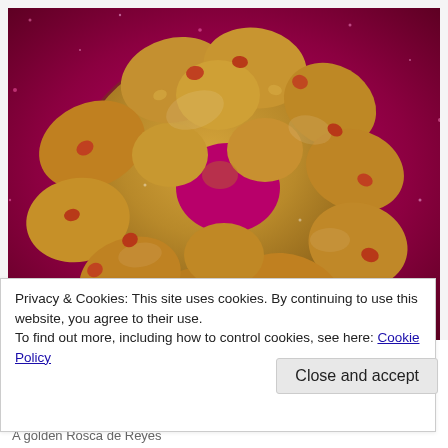[Figure (photo): A golden Rosca de Reyes (King's Day bread) ring-shaped bread decorated with candied fruit, sitting on a sparkling red/magenta background.]
Privacy & Cookies: This site uses cookies. By continuing to use this website, you agree to their use.
To find out more, including how to control cookies, see here: Cookie Policy
Close and accept
A golden Rosca de Reyes